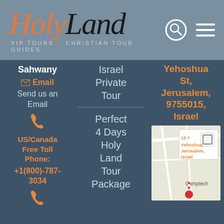[Figure (logo): HolyLand VIP Tours Christian Tour Guides logo with search icon and hamburger menu]
Sahwany
✉ Email
Send us an Email
US/Canada Free Toll Phone: +1(800)-787-3034
Israel Private Tour
Perfect 4 Days Holy Land Tour Package
Yehoshua St, Jerusalem, 9755015, Israel
[Figure (map): Google Maps embed showing 15 Yehoshua, Jerusalem, Israel with a red location pin and Comptech label]